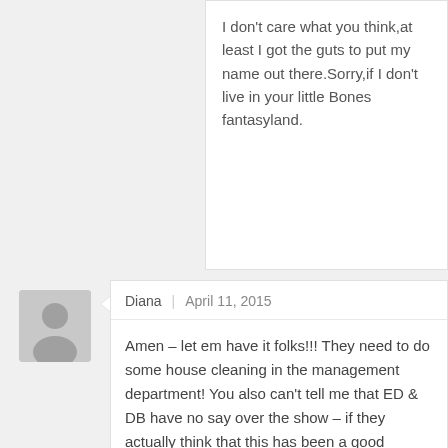I don't care what you think,at least I got the guts to put my name out there.Sorry,if I don't live in your little Bones fantasyland.
Diana | April 11, 2015
Amen – let em have it folks!!! They need to do some house cleaning in the management department! You also can't tell me that ED & DB have no say over the show – if they actually think that this has been a good season, then I am very disappointed in them too! They have removed the heart and soul from the show, and then have the nerve to get upset with the discouraged fans! I believe that the reason they are paid a hefty chunk of money is to entertain; and obviously, that is not happening this season! They need a